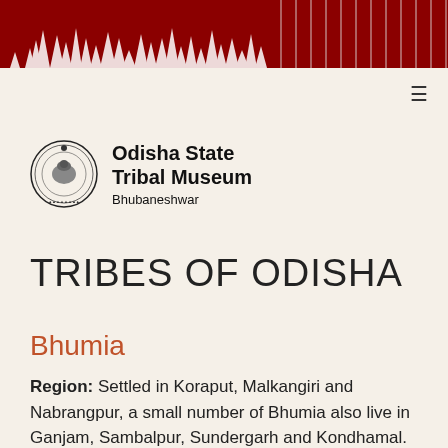[Figure (illustration): Dark red/maroon banner at the top with tribal textile pattern and white tree/forest silhouette motifs]
[Figure (logo): Odisha State Tribal Museum Bhubaneshwar logo: circular emblem with lion and decorative border, next to text 'Odisha State Tribal Museum Bhubaneshwar']
TRIBES OF ODISHA
Bhumia
Region: Settled in Koraput, Malkangiri and Nabrangpur, a small number of Bhumia also live in Ganjam, Sambalpur, Sundergarh and Kondhamal.